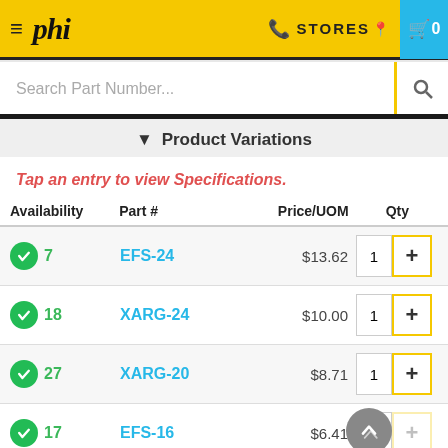[Figure (screenshot): Mobile app header with hamburger menu, phi logo, STORES link with phone icon, and cart button showing 0 items on yellow background]
[Figure (screenshot): Search Part Number input field with magnifying glass button]
▾ Product Variations
Tap an entry to view Specifications.
| Availability | Part # | Price/UOM | Qty |
| --- | --- | --- | --- |
| 7 | EFS-24 | $13.62 | 1 |
| 18 | XARG-24 | $10.00 | 1 |
| 27 | XARG-20 | $8.71 | 1 |
| 17 | EFS-16 | $6.41 | 1 |